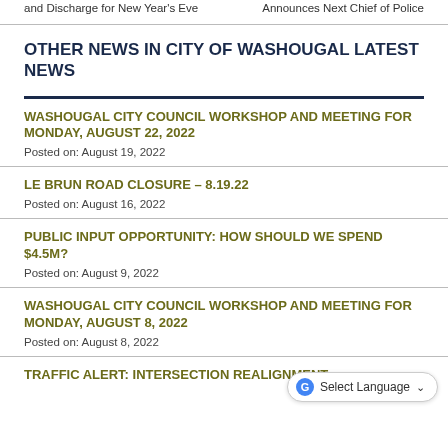and Discharge for New Year's Eve | Announces Next Chief of Police
OTHER NEWS IN CITY OF WASHOUGAL LATEST NEWS
WASHOUGAL CITY COUNCIL WORKSHOP AND MEETING FOR MONDAY, AUGUST 22, 2022
Posted on: August 19, 2022
LE BRUN ROAD CLOSURE – 8.19.22
Posted on: August 16, 2022
PUBLIC INPUT OPPORTUNITY: HOW SHOULD WE SPEND $4.5M?
Posted on: August 9, 2022
WASHOUGAL CITY COUNCIL WORKSHOP AND MEETING FOR MONDAY, AUGUST 8, 2022
Posted on: August 8, 2022
TRAFFIC ALERT: INTERSECTION REALIGNMENT